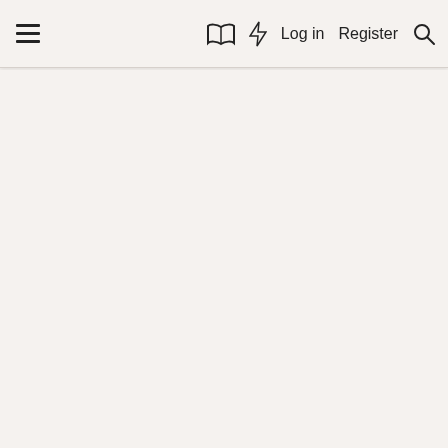≡  [book icon]  [bolt icon]  Log in  Register  [search icon]